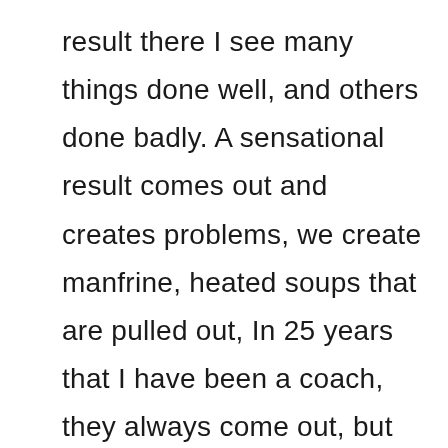result there I see many things done well, and others done badly. A sensational result comes out and creates problems, we create manfrine, heated soups that are pulled out, In 25 years that I have been a coach, they always come out, but that’s not the case. A match that shouldn’t have been lost has been lost, but there are many results in football that overturn logic. You do things with professionalism ,